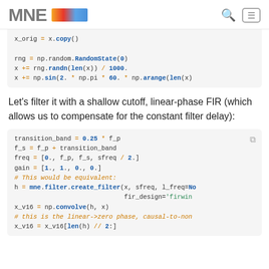MNE [logo]
x_orig = x.copy()  
rng = np.random.RandomState(0)
x += rng.randn(len(x)) / 1000.
x += np.sin(2. * np.pi * 60. * np.arange(len(x)...
Let’s filter it with a shallow cutoff, linear-phase FIR (which allows us to compensate for the constant filter delay):
transition_band = 0.25 * f_p
f_s = f_p + transition_band
freq = [0., f_p, f_s, sfreq / 2.]
gain = [1., 1., 0., 0.]
# This would be equivalent:
h = mne.filter.create_filter(x, sfreq, l_freq=No...
                             fir_design='firwin...
x_v16 = np.convolve(h, x)
# this is the linear->zero phase, causal-to-non...
x_v16 = x_v16[len(h) // 2:]